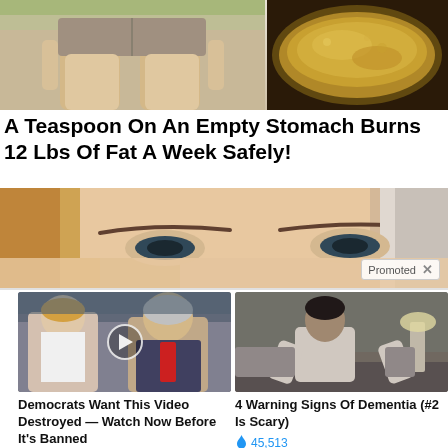[Figure (photo): Split image: left side shows legs/lower body of a woman in shorts standing outdoors; right side shows a bowl of brown powder/spice]
A Teaspoon On An Empty Stomach Burns 12 Lbs Of Fat A Week Safely!
[Figure (photo): Close-up of a woman's eyes/brow area; shows 'Promoted X' badge in lower right]
[Figure (photo): Photo of two people (a woman and a man in a suit with red tie) with a play button overlay]
Democrats Want This Video Destroyed — Watch Now Before It's Banned
🔥 186,380
[Figure (photo): Photo of a person sitting on a bed, appearing unwell or fatigued]
4 Warning Signs Of Dementia (#2 Is Scary)
🔥 45,513